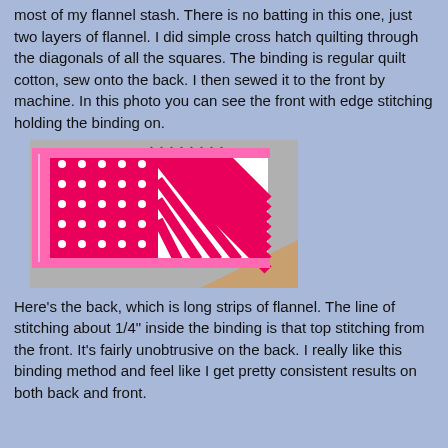most of my flannel stash. There is no batting in this one, just two layers of flannel. I did simple cross hatch quilting through the diagonals of all the squares. The binding is regular quilt cotton, sew onto the back. I then sewed it to the front by machine. In this photo you can see the front with edge stitching holding the binding on.
[Figure (photo): Close-up photo of a patchwork quilt corner showing pink and white polka dot fabric, pink and white zebra stripe fabric, and bright pink solid fabric with edge binding stitching visible, on a gray surface.]
Here's the back, which is long strips of flannel. The line of stitching about 1/4" inside the binding is that top stitching from the front. It's fairly unobtrusive on the back. I really like this binding method and feel like I get pretty consistent results on both back and front.